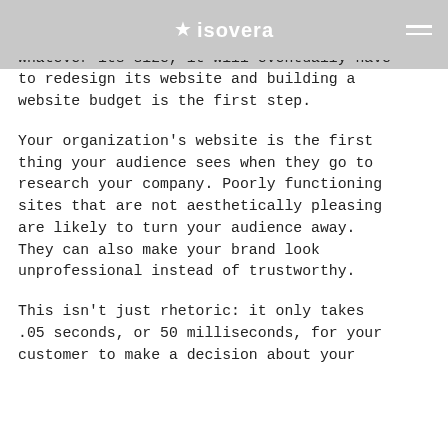isovera
tool organizations have at their disposal. Whatever sector an organization is in, whatever its size, it will eventually have to redesign its website and building a website budget is the first step.

Your organization’s website is the first thing your audience sees when they go to research your company. Poorly functioning sites that are not aesthetically pleasing are likely to turn your audience away. They can also make your brand look unprofessional instead of trustworthy.

This isn’t just rhetoric: it only takes .05 seconds, or 50 milliseconds, for your customer to make a decision about your